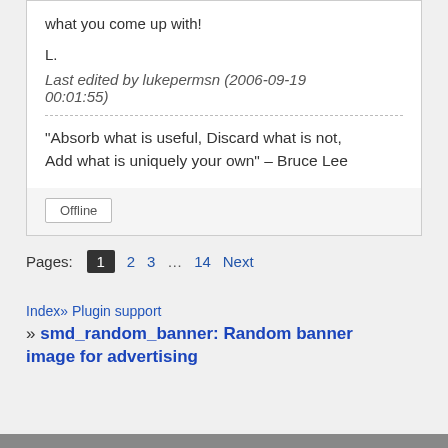what you come up with!
L.
Last edited by lukepermsn (2006-09-19 00:01:55)
“Absorb what is useful, Discard what is not, Add what is uniquely your own” – Bruce Lee
Offline
Pages:  1  2  3  ...  14  Next
Index» Plugin support » smd_random_banner: Random banner image for advertising